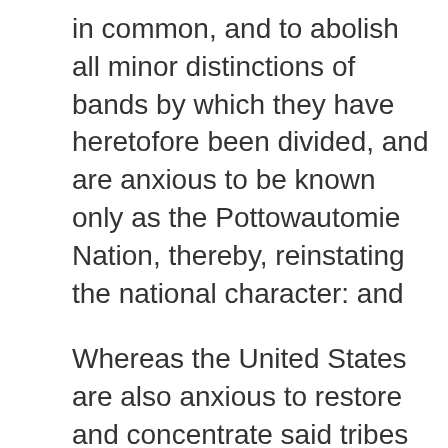in common, and to abolish all minor distinctions of bands by which they have heretofore been divided, and are anxious to be known only as the Pottowautomie Nation, thereby, reinstating the national character: and
Whereas the United States are also anxious to restore and concentrate said tribes to a state so desirable and necessary for the happiness of their people, as well as to enable the Government to arrange and manage its intercourse with them: